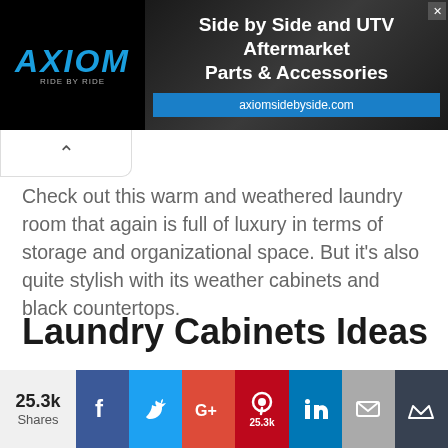[Figure (photo): AXIOM 'Side by Side and UTV Aftermarket Parts & Accessories' advertisement banner with axiomsidebyside.com URL, black background with blue text logo]
Check out this warm and weathered laundry room that again is full of luxury in terms of storage and organizational space. But it's also quite stylish with its weather cabinets and black countertops.
Laundry Cabinets Ideas
[Figure (photo): Laundry room with white/cream tall storage cabinets, decorative items on top including vases and a wicker basket, light teal/green wall color]
25.3k Shares  25.3k